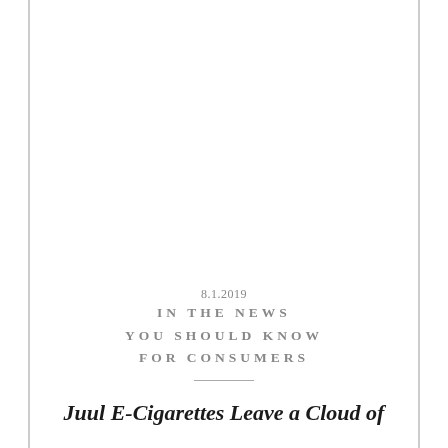8.1.2019
IN THE NEWS YOU SHOULD KNOW FOR CONSUMERS
Juul E-Cigarettes Leave a Cloud of